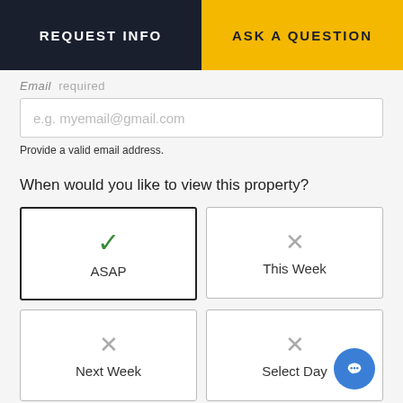REQUEST INFO
ASK A QUESTION
Email  required
e.g. myemail@gmail.com
Provide a valid email address.
When would you like to view this property?
✓ ASAP (selected)
✗ This Week
✗ Next Week
✗ Select Day